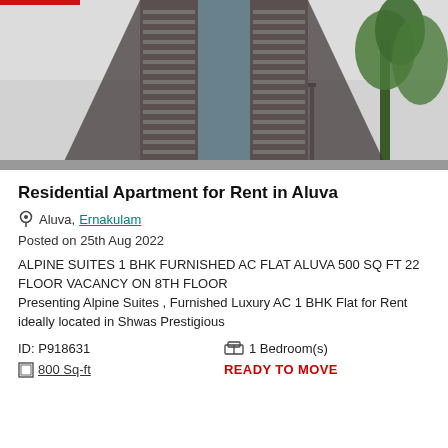[Figure (photo): Tall residential apartment building photographed from below looking up, showing multiple floors with balconies and air conditioning units. Palm trees visible on the right side, overcast sky in background.]
Residential Apartment for Rent in Aluva
Aluva, Ernakulam
Posted on 25th Aug 2022
ALPINE SUITES 1 BHK FURNISHED AC FLAT ALUVA 500 SQ FT 22 FLOOR VACANCY ON 8TH FLOOR Presenting Alpine Suites , Furnished Luxury AC 1 BHK Flat for Rent ideally located in Shwas Prestigious
ID: P918631
1 Bedroom(s)
800 Sq-ft
READY TO MOVE